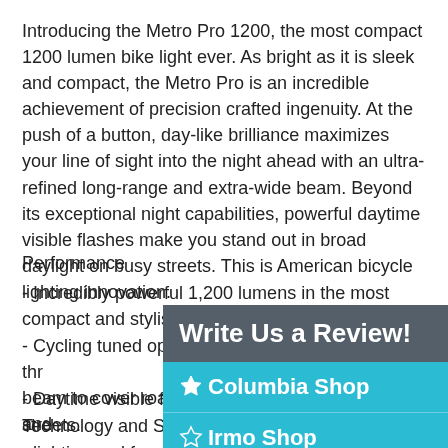Introducing the Metro Pro 1200, the most compact 1200 lumen bike light ever. As bright as it is sleek and compact, the Metro Pro is an incredible achievement of precision crafted ingenuity. At the push of a button, day-like brilliance maximizes your line of sight into the night ahead with an ultra-refined long-range and extra-wide beam. Beyond its exceptional night capabilities, powerful daytime visible flashes make you stand out in broad daylight on busy streets. This is American bicycle lighting innovation.
Performance
- Incredibly powerful 1,200 lumens in the most compact and stylish form.
- Cycling tuned optics thr... beam to cover road and ...
- Daytime visible flashes ... streets.
Technology and Safety
- lighting and...
[Figure (infographic): Dark overlay panel with 'Write Us a Review!' header in white on dark gray background, followed by two shop options on teal background: 'Columbia Shop' with filled star, and 'Irmo Shop' with outline star.]